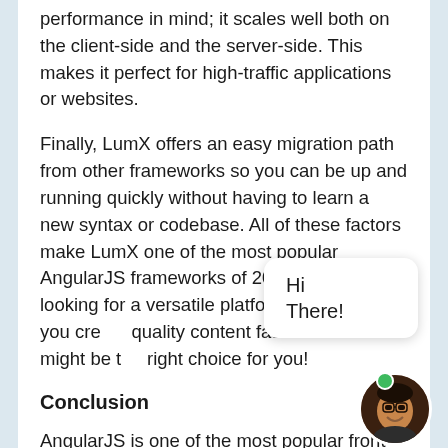performance in mind; it scales well both on the client-side and the server-side. This makes it perfect for high-traffic applications or websites.
Finally, LumX offers an easy migration path from other frameworks so you can be up and running quickly without having to learn a new syntax or codebase. All of these factors make LumX one of the most popular AngularJS frameworks of 2022. If you’re looking for a versatile platform that will help you create quality content fast then this might be the right choice for you!
Conclusion
AngularJS is one of the most popular front-end